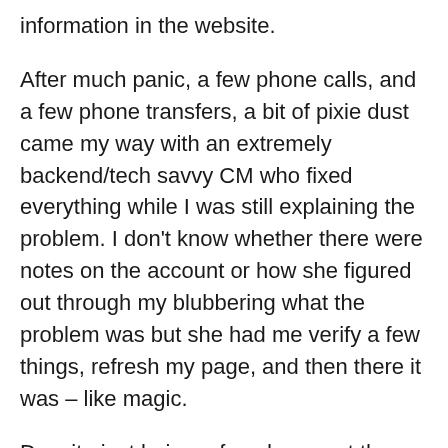information in the website.
After much panic, a few phone calls, and a few phone transfers, a bit of pixie dust came my way with an extremely backend/tech savvy CM who fixed everything while I was still explaining the problem. I don't know whether there were notes on the account or how she figured out through my blubbering what the problem was but she had me verify a few things, refresh my page, and then there it was – like magic.
Despite just being a few days past the 180 mark, all of the potential reservations for Be Our Guest had filled. A little disheartened to say the least, but I went ahead and made some other reservations anyway. Around the Fastpass+ mark (60 days) we received an email about Fastpass+ for Be Our Guest lunches. I was still upset